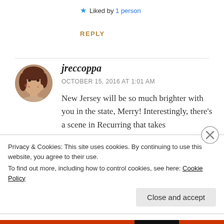★ Liked by 1 person
REPLY
jreccoppa
OCTOBER 15, 2016 AT 1:01 AM
New Jersey will be so much brighter with you in the state, Merry! Interestingly, there's a scene in Recurring that takes
Privacy & Cookies: This site uses cookies. By continuing to use this website, you agree to their use.
To find out more, including how to control cookies, see here: Cookie Policy
Close and accept